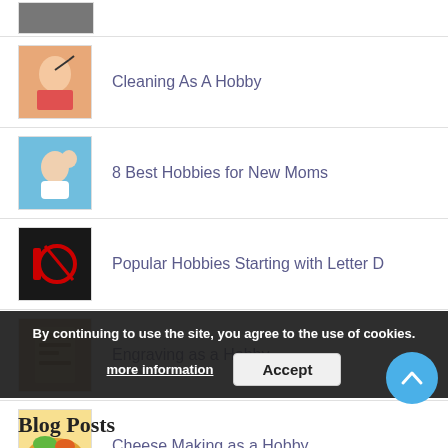[Figure (photo): Partial thumbnail at top of page]
Cleaning As A Hobby
8 Best Hobbies for New Moms
Popular Hobbies Starting with Letter D
Engraving as a Hobby
Cheese Making as a Hobby
Popular Hobbies Starting with Letter J
By continuing to use the site, you agree to the use of cookies.
more information
Accept
Blog Posts